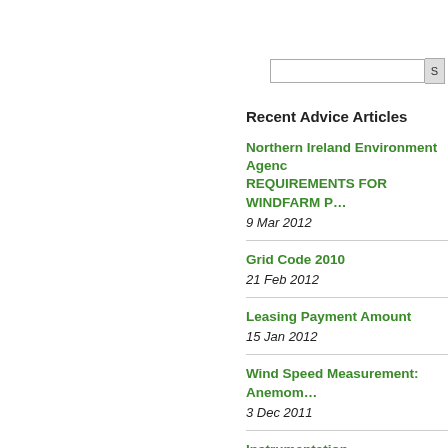Recent Advice Articles
Northern Ireland Environment Agency REQUIREMENTS FOR WINDFARM P…
9 Mar 2012
Grid Code 2010
21 Feb 2012
Leasing Payment Amount
15 Jan 2012
Wind Speed Measurement: Anemom…
3 Dec 2011
Instrumentation
3 Dec 2011
Weibull Distribution
3 Dec 2011